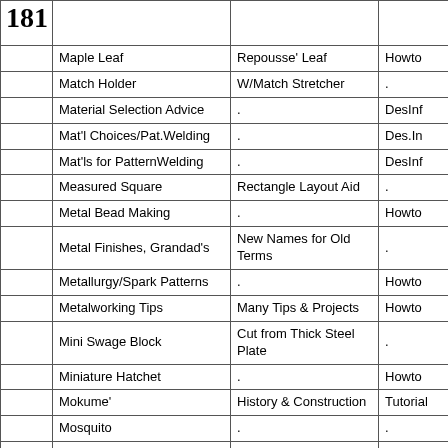|  | Item | Description | Type |
| --- | --- | --- | --- |
|  | Maple Leaf | Repousse' Leaf | Howto |
|  | Match Holder | W/Match Stretcher | . |
|  | Material Selection Advice | . | DesInf |
|  | Mat'l Choices/Pat.Welding | . | Des.In |
|  | Mat'ls for PatternWelding | . | DesInf |
|  | Measured Square | Rectangle Layout Aid | . |
|  | Metal Bead Making | . | Howto |
|  | Metal Finishes, Grandad's | New Names for Old Terms | . |
|  | Metallurgy/Spark Patterns | . | Howto |
|  | Metalworking Tips | Many Tips & Projects | Howto |
|  | Mini Swage Block | Cut from Thick Steel Plate | . |
|  | Miniature Hatchet | . | Howto |
|  | Mokume' | History & Construction | Tutorial |
|  | Mosquito | . | . |
|  | Mule, Wild-Eyed | . | . |